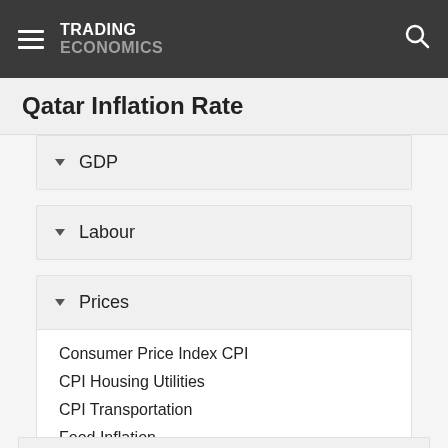TRADING ECONOMICS
Qatar Inflation Rate
GDP
Labour
Prices
Consumer Price Index CPI
CPI Housing Utilities
CPI Transportation
Food Inflation
Inflation Rate
Inflation Rate MoM
Producer Prices
Producer Prices Change